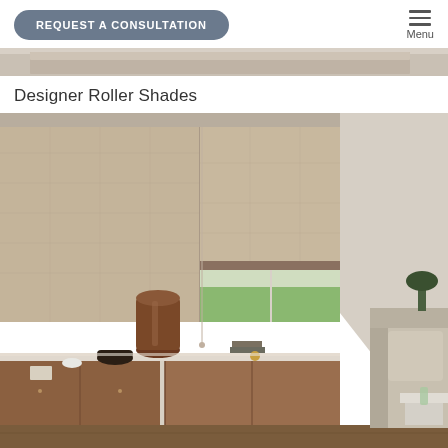REQUEST A CONSULTATION | Menu
[Figure (photo): Narrow horizontal strip showing top portion of an interior room with roller shades]
Designer Roller Shades
[Figure (photo): Interior living room with large designer roller shades covering floor-to-ceiling windows. A credenza with decorative pottery and a vase is in the foreground, with a seating area visible to the right. Natural light filters through the shades showing grass outside.]